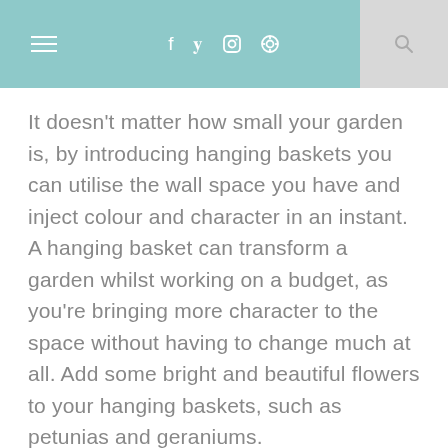≡ f 𝕥 ⊡ ⊙ 🔍
It doesn't matter how small your garden is, by introducing hanging baskets you can utilise the wall space you have and inject colour and character in an instant. A hanging basket can transform a garden whilst working on a budget, as you're bringing more character to the space without having to change much at all. Add some bright and beautiful flowers to your hanging baskets, such as petunias and geraniums.